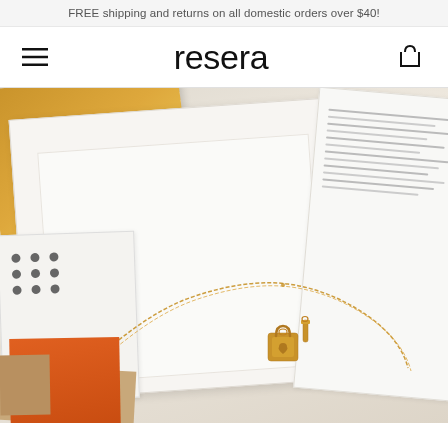FREE shipping and returns on all domestic orders over $40!
resera
[Figure (photo): Product photo of a gold necklace with a lock charm and bar charm, displayed on white magazine pages with yellow book cover, dotted pattern paper, and orange magazine covers in the background.]